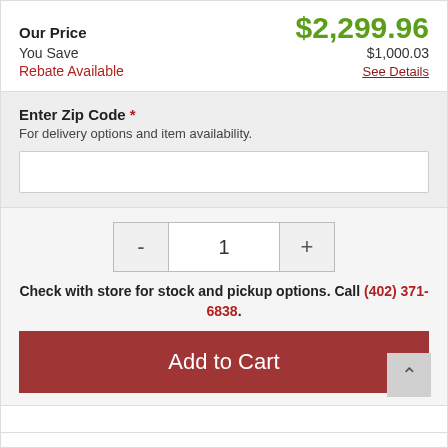Our Price   $2,299.96
You Save   $1,000.03
Rebate Available   See Details
Enter Zip Code *
For delivery options and item availability.
- 1 +
Check with store for stock and pickup options. Call (402) 371-6838.
Add to Cart